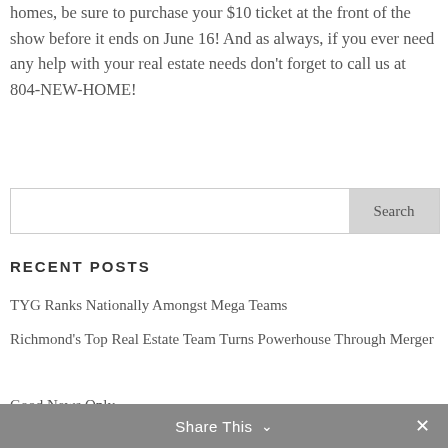homes, be sure to purchase your $10 ticket at the front of the show before it ends on June 16! And as always, if you ever need any help with your real estate needs don't forget to call us at 804-NEW-HOME!
[Figure (other): Search input box with Search button]
RECENT POSTS
TYG Ranks Nationally Amongst Mega Teams
Richmond's Top Real Estate Team Turns Powerhouse Through Merger
Good News Only
Share This ∨  ✕